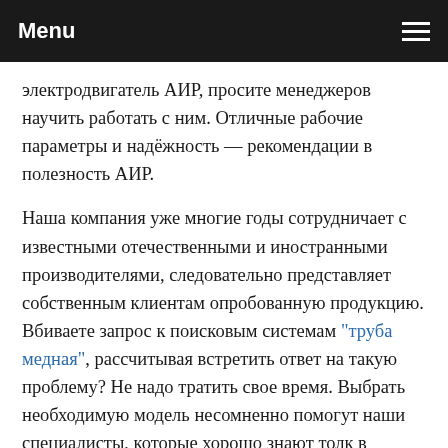Menu
электродвигатель АИР, просите менеджеров научить работать с ним. Отличные рабочие параметры и надёжность — рекомендации в полезность АИР.
Наша компания уже многие годы сотрудничает с известными отечественными и иностранными производителями, следовательно представляет собственным клиентам опробованную продукцию. Вбиваете запрос к поисковым системам "труба медная", рассчитывая встретить ответ на такую проблему? Не надо тратить свое время. Выбрать необходимую модель несомненно помогут наши специалисты, которые хорошо знают толк в конструктивных спецификах всякого изделия, в связи